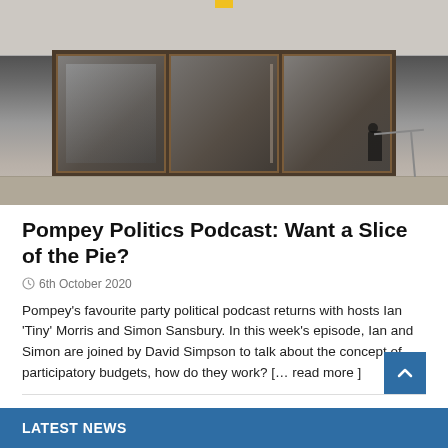[Figure (photo): Photograph of a building entrance with automatic glass sliding doors, reflective glass panels showing interior reflections, tiled sidewalk in foreground, white/grey building facade]
Pompey Politics Podcast: Want a Slice of the Pie?
6th October 2020
Pompey's favourite party political podcast returns with hosts Ian 'Tiny' Morris and Simon Sansbury. In this week's episode, Ian and Simon are joined by David Simpson to talk about the concept of participatory budgets, how do they work? [… read more ]
LATEST NEWS